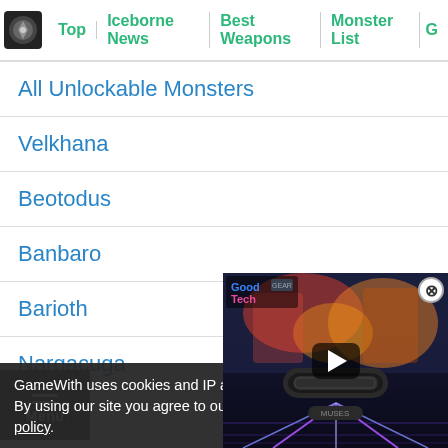Top | Iceborne News | Best Weapons | Monster List
All Unlockable Monsters
Velkhana
Beotodus
Banbaro
Barioth
Nargacuga
Tigrex
Glavenus
Shrieking...
[Figure (screenshot): Video player overlay with play button and GoodTech branding on a colorful background]
GameWith uses cookies and IP a... By using our site you agree to ou... policy.